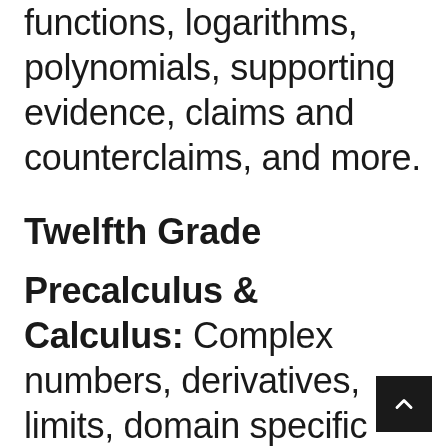functions, logarithms, polynomials, supporting evidence, claims and counterclaims, and more.
Twelfth Grade
Precalculus & Calculus: Complex numbers, derivatives, limits, domain specific vocabulary, writing arguments, and more.